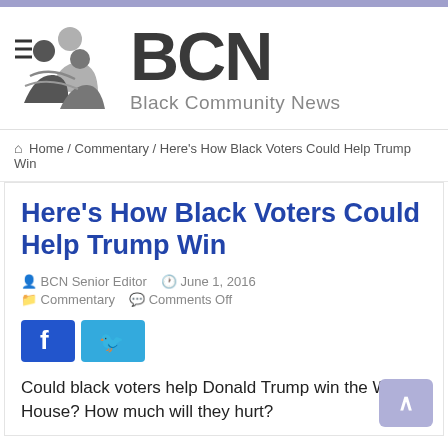[Figure (logo): BCN Black Community News logo with stylized figures icon and BCN lettering]
Home / Commentary / Here's How Black Voters Could Help Trump Win
Here's How Black Voters Could Help Trump Win
BCN Senior Editor   June 1, 2016
Commentary   Comments Off
[Figure (other): Facebook and Twitter social share buttons]
Could black voters help Donald Trump win the White House? How much will they hurt?